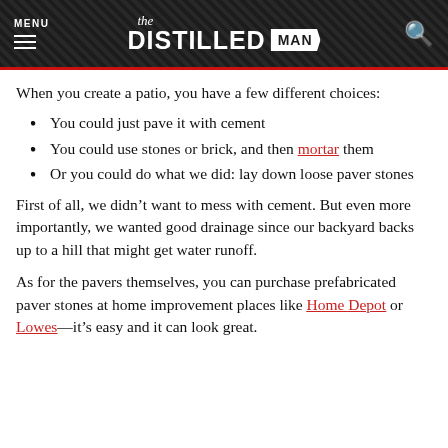MENU | the DISTILLED MAN | [search]
When you create a patio, you have a few different choices:
You could just pave it with cement
You could use stones or brick, and then mortar them
Or you could do what we did: lay down loose paver stones
First of all, we didn’t want to mess with cement. But even more importantly, we wanted good drainage since our backyard backs up to a hill that might get water runoff.
As for the pavers themselves, you can purchase prefabricated paver stones at home improvement places like Home Depot or Lowes—it’s easy and it can look great.